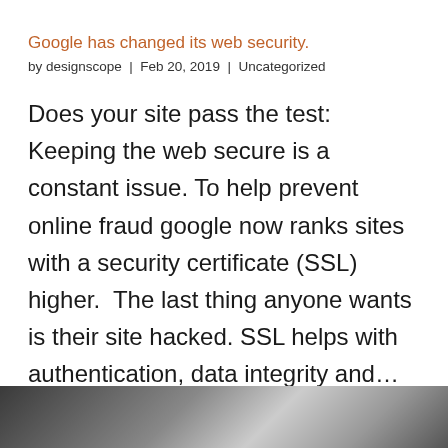Google has changed its web security.
by designscope | Feb 20, 2019 | Uncategorized
Does your site pass the test: Keeping the web secure is a constant issue. To help prevent online fraud google now ranks sites with a security certificate (SSL) higher.  The last thing anyone wants is their site hacked. SSL helps with authentication, data integrity and…
[Figure (photo): Grayscale photo strip at the bottom of the page]